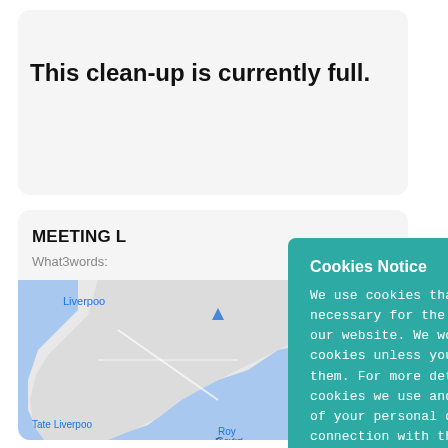This clean-up is currently full.
MEETING L
What3words:
[Figure (map): Google Maps screenshot showing Liverpool waterfront area including Tate Liverpool and Royal Albert Dock labels, with blue water area visible]
Cookies Notice
We use cookies that are strictly necessary for the functioning of our website. We won't set other cookies unless you consent to them. For more details about the cookies we use and the processing of your personal data in connection with this, please read our Cookie Notice.
Accept All
Reject All
Cookie Settings